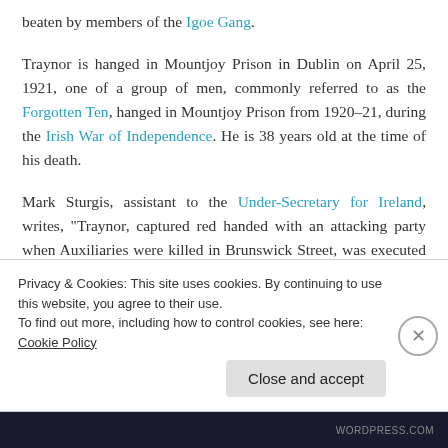beaten by members of the Igoe Gang.
Traynor is hanged in Mountjoy Prison in Dublin on April 25, 1921, one of a group of men, commonly referred to as the Forgotten Ten, hanged in Mountjoy Prison from 1920–21, during the Irish War of Independence. He is 38 years old at the time of his death.
Mark Sturgis, assistant to the Under-Secretary for Ireland, writes, “Traynor, captured red handed with an attacking party when Auxiliaries were killed in Brunswick Street, was executed this morning. I don’t think they will make much fuss as there is no sort of ‘alibi’ business this time, nor is
Privacy & Cookies: This site uses cookies. By continuing to use this website, you agree to their use.
To find out more, including how to control cookies, see here: Cookie Policy
Close and accept